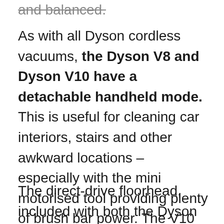and balanced.
As with all Dyson cordless vacuums, the Dyson V8 and Dyson V10 have a detachable handheld mode. This is useful for cleaning car interiors, stairs and other awkward locations – especially with the mini motorised tool providing plenty of brush bar power. The V10 feels less comfortable to hold in handheld mode due to the redesign and larger bin, but the difference isn't enough to cause a real problem.
The direct-drive floorhead, included with both the Dyson V8 and Dyson V10, has a mobile pivot, so manoeuvring around furniture feels easy. A bonus is that Dyson